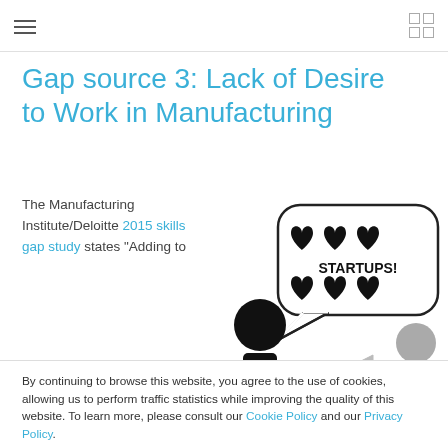navigation header with hamburger menu and grid icon
Gap source 3: Lack of Desire to Work in Manufacturing
The Manufacturing Institute/Deloitte 2015 skills gap study states “Adding to
[Figure (illustration): Stick figure person with a speech bubble containing hearts and the word STARTUPS!, with another person partially visible in background]
By continuing to browse this website, you agree to the use of cookies, allowing us to perform traffic statistics while improving the quality of this website. To learn more, please consult our Cookie Policy and our Privacy Policy.
Accept